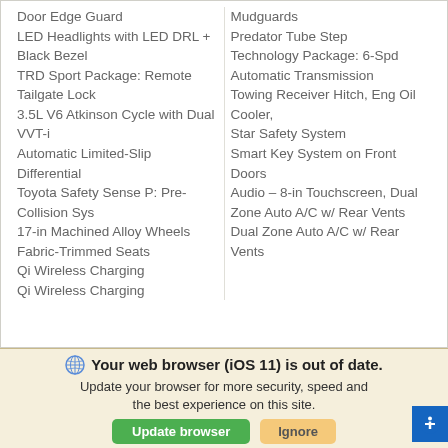Door Edge Guard
LED Headlights with LED DRL + Black Bezel
TRD Sport Package: Remote Tailgate Lock
3.5L V6 Atkinson Cycle with Dual VVT-i
Automatic Limited-Slip Differential
Toyota Safety Sense P: Pre-Collision Sys
17-in Machined Alloy Wheels
Fabric-Trimmed Seats
Qi Wireless Charging
Qi Wireless Charging
Mudguards
Predator Tube Step
Technology Package: 6-Spd Automatic Transmission
Towing Receiver Hitch, Eng Oil Cooler,
Star Safety System
Smart Key System on Front Doors
Audio – 8-in Touchscreen, Dual Zone Auto A/C w/ Rear Vents
Dual Zone Auto A/C w/ Rear Vents
Your web browser (iOS 11) is out of date. Update your browser for more security, speed and the best experience on this site.